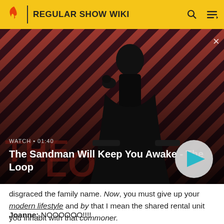REGULAR SHOW WIKI
[Figure (screenshot): Video thumbnail showing a dark-cloaked figure with a raven on their shoulder against a red and dark diagonal striped background. The Loop logo is visible. Overlay text reads WATCH • 01:40 and title The Sandman Will Keep You Awake - The Loop with a play button on the right.]
disgraced the family name. Now, you must give up your modern lifestyle and by that I mean the shared rental unit you inhabit with that commoner.
Joanne: NOOOOOO!!!!